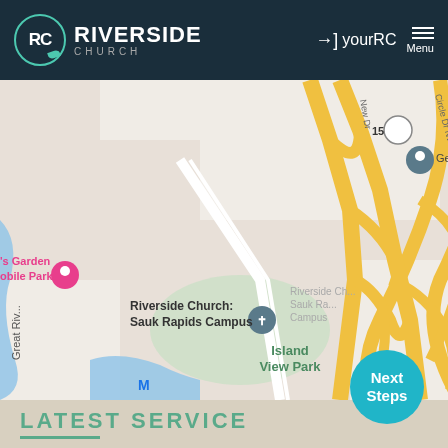[Figure (logo): Riverside Church logo with RC monogram in teal circle and wordmark]
[Figure (map): Google Maps screenshot showing Riverside Church Sauk Rapids Campus, Island View Park, Petra Lutheran School, Good Shepherd Community, and surrounding streets including Great River road, 10th St N, 11th S, 2nd Ave N, with highway interchange and route 15]
[Figure (other): Next Steps teal circular button]
LATEST SERVICE